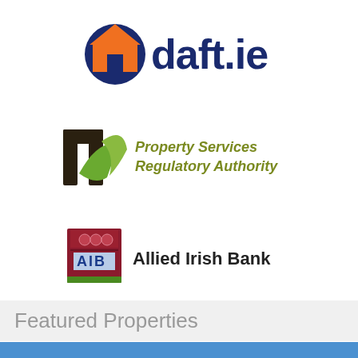[Figure (logo): daft.ie logo with orange house icon and dark blue bold text]
[Figure (logo): Property Services Regulatory Authority logo with green and dark checkmark icon and olive/green italic text]
[Figure (logo): AIB Allied Irish Bank logo with red box containing ornate design and AIB letters, followed by Allied Irish Bank text]
Featured Properties
[Figure (photo): Photograph of suburban houses with blue sky, a dark estate agent board showing PLACE logo in foreground]